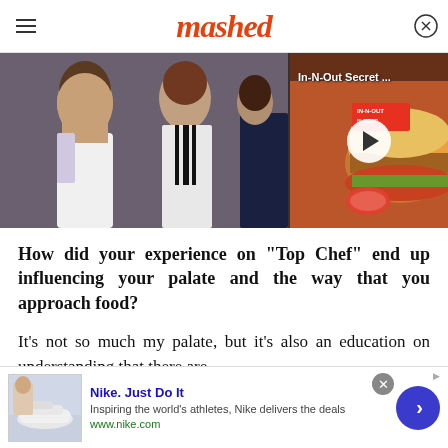mashed
[Figure (photo): Two people posing at an event, left side. Right side shows a video thumbnail of an In-N-Out burger with play button overlay and label 'In-N-Out Secret ...']
How did your experience on "Top Chef" end up influencing your palate and the way that you approach food?
It's not so much my palate, but it's also an education on understanding that there are
[Figure (other): Advertisement banner: Nike. Just Do It. Inspiring the world's athletes, Nike delivers the deals. www.nike.com. Shows Nike Air Force 1 shoe image.]